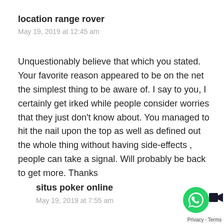location range rover
May 19, 2019 at 12:45 am
Unquestionably believe that which you stated. Your favorite reason appeared to be on the net the simplest thing to be aware of. I say to you, I certainly get irked while people consider worries that they just don't know about. You managed to hit the nail upon the top as well as defined out the whole thing without having side-effects , people can take a signal. Will probably be back to get more. Thanks
situs poker online
May 19, 2019 at 7:55 am
[Figure (logo): WhatsApp contact button (green circle with phone icon) and video camera icon, with Privacy and Terms text below]